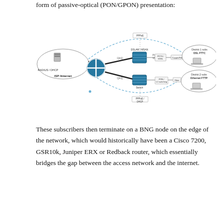form of passive-optical (PON/GPON) presentation:
[Figure (network-graph): Network diagram showing BNG node connecting ISP/Internet cloud on the left to two district clouds on the right. Upper path goes through DSLAM/MSAN router to POTS/VDSL then Copper/Fibre to District 1 subs DSL FTTC cloud. Lower path goes through Switch to PON/L2 switching then Fibre to District 2 subs Ethernet FTTP cloud. PPPoE label at top, PPPoE/DHCP label at bottom. RADIUS/DHCP shown in ISP cloud. QinQ labels on BNG output links.]
These subscribers then terminate on a BNG node on the edge of the network, which would historically have been a Cisco 7200, GSR10k, Juniper ERX or Redback router, which essentially bridges the gap between the access network and the internet.